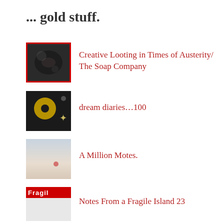... gold stuff.
Creative Looting in Times of Austerity/ The Soap Company
dream diaries…100
A Million Motes.
Notes From a Fragile Island 23
Fleet Circles.
dream diaries…112
Notes From a Fragile Island…28
Desert Island Discs.